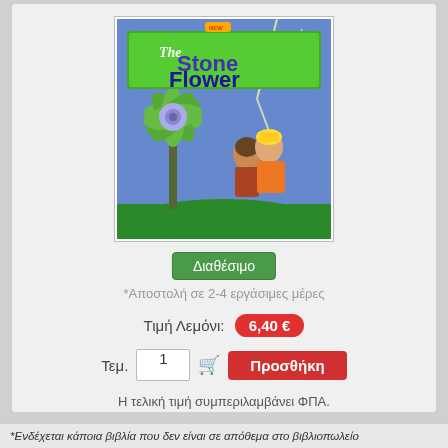[Figure (illustration): Book cover of 'The Stone Flower' showing a large green stone flower, two children sitting together, and a stormy blue sky background. Green title banner with purple text reads 'The Stone Flower'.]
Διαθέσιμο
*Αποστολή σε 2-4 εργάσιμες μέρες
Τιμή Λεμόνι: 6,40 €
Τεμ. 1 Προσθήκη
Η τελική τιμή συμπεριλαμβάνει ΦΠΑ.
*Ενδέχεται κάποια βιβλία που δεν είναι σε απόθεμα στο βιβλιοπωλείο